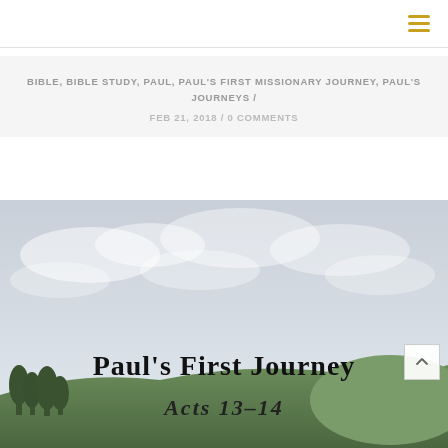≡ (hamburger menu icon)
BIBLE, BIBLE STUDY, PAUL, PAUL'S FIRST MISSIONARY JOURNEY, PAUL'S JOURNEYS /
FEB 21, 2018 / 0 COMMENTS
[Figure (photo): Landscape photo with overcast sky, green trees and hills at bottom, text overlay reading Paul's First Journey Acts 13-14]